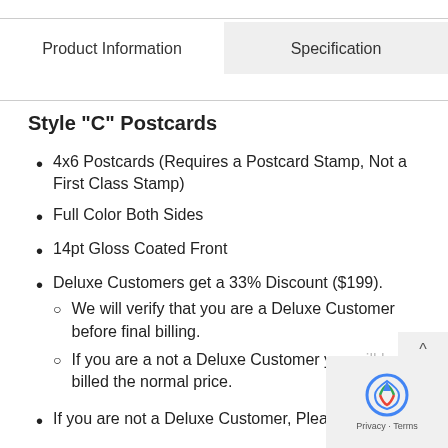Product Information | Specification
Style "C" Postcards
4x6 Postcards (Requires a Postcard Stamp, Not a First Class Stamp)
Full Color Both Sides
14pt Gloss Coated Front
Deluxe Customers get a 33% Discount ($199).
We will verify that you are a Deluxe Customer before final billing.
If you are a not a Deluxe Customer you will be billed the normal price.
If you are not a Deluxe Customer, Please Call the